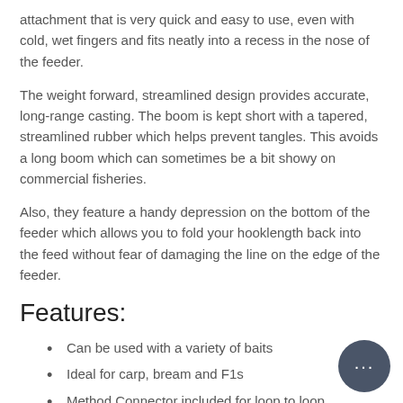attachment that is very quick and easy to use, even with cold, wet fingers and fits neatly into a recess in the nose of the feeder.
The weight forward, streamlined design provides accurate, long-range casting. The boom is kept short with a tapered, streamlined rubber which helps prevent tangles. This avoids a long boom which can sometimes be a bit showy on commercial fisheries.
Also, they feature a handy depression on the bottom of the feeder which allows you to fold your hooklength back into the feed without fear of damaging the line on the edge of the feeder.
Features:
Can be used with a variety of baits
Ideal for carp, bream and F1s
Method Connector included for loop to loop attachment
Aerodynamic shape
Tapered tail rubber